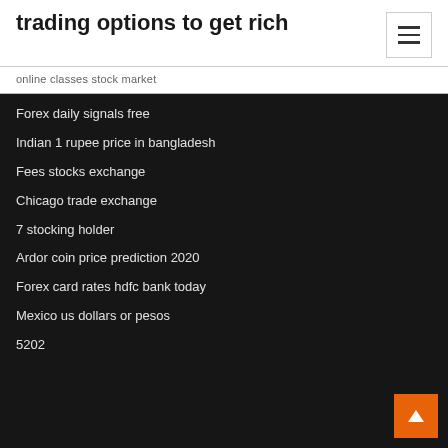trading options to get rich
online classes stock market
Forex daily signals free
Indian 1 rupee price in bangladesh
Fees stocks exchange
Chicago trade exchange
7 stocking holder
Ardor coin price prediction 2020
Forex card rates hdfc bank today
Mexico us dollars or pesos
5202